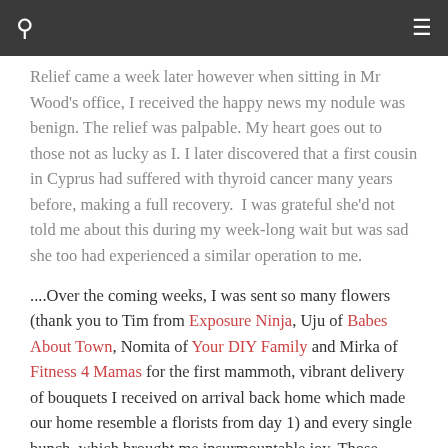[ navigation bar with search and menu icons ]
Relief came a week later however when sitting in Mr Wood's office, I received the happy news my nodule was benign. The relief was palpable. My heart goes out to those not as lucky as I. I later discovered that a first cousin in Cyprus had suffered with thyroid cancer many years before, making a full recovery.  I was grateful she'd not told me about this during my week-long wait but was sad she too had experienced a similar operation to me.
....Over the coming weeks, I was sent so many flowers (thank you to Tim from Exposure Ninja, Uju of Babes About Town, Nomita of Your DIY Family and Mirka of Fitness 4 Mamas for the first mammoth, vibrant delivery of bouquets I received on arrival back home which made our home resemble a florists from day 1) and every single bunch, which brought me insurmountable joy. Those living flowers helped to revive me really. They reminded me that I could start living again.
From thoughtful readers sending gifts to my PO Box address to close friends posting uplifting gifts (my best friend Carlie read my